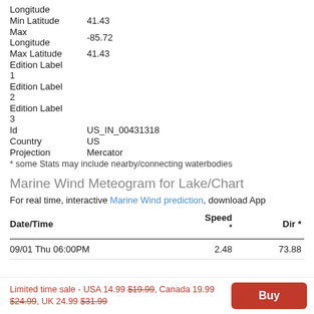Longitude
Min Latitude 41.43
Max Longitude -85.72
Max Latitude 41.43
Edition Label
1
Edition Label
2
Edition Label
3
Id    US_IN_00431318
Country    US
Projection    Mercator
* some Stats may include nearby/connecting waterbodies
Marine Wind Meteogram for Lake/Chart
For real time, interactive Marine Wind prediction, download App
| Date/Time | Speed * | Dir * |
| --- | --- | --- |
| 09/01 Thu 06:00PM | 2.48 | 73.88 |
Limited time sale - USA 14.99 $19.99, Canada 19.99 $24.99, UK 24.99 $31.99